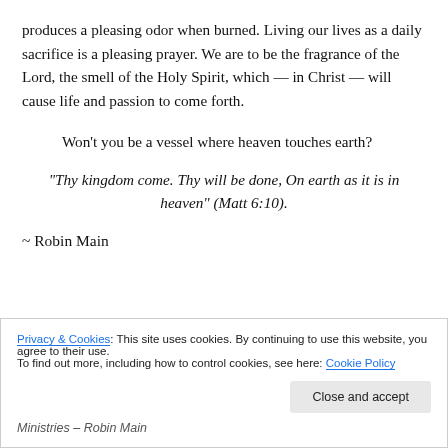produces a pleasing odor when burned. Living our lives as a daily sacrifice is a pleasing prayer. We are to be the fragrance of the Lord, the smell of the Holy Spirit, which — in Christ — will cause life and passion to come forth.
Won't you be a vessel where heaven touches earth?
“Thy kingdom come. Thy will be done, On earth as it is in heaven” (Matt 6:10).
~ Robin Main
Privacy & Cookies: This site uses cookies. By continuing to use this website, you agree to their use. To find out more, including how to control cookies, see here: Cookie Policy
Ministries – Robin Main